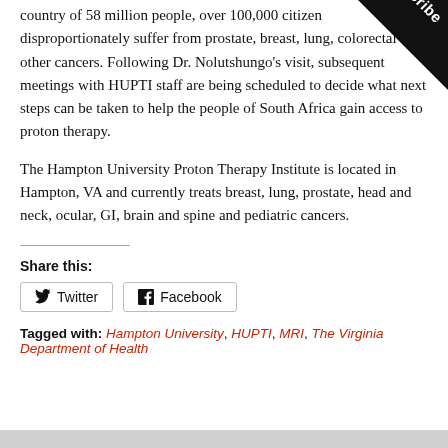country of 58 million people, over 100,000 citizens disproportionately suffer from prostate, breast, lung, colorectal and other cancers. Following Dr. Nolutshungo's visit, subsequent meetings with HUPTI staff are being scheduled to decide what next steps can be taken to help the people of South Africa gain access to proton therapy.
The Hampton University Proton Therapy Institute is located in Hampton, VA and currently treats breast, lung, prostate, head and neck, ocular, GI, brain and spine and pediatric cancers.
Share this:
Twitter  Facebook
Tagged with: Hampton University, HUPTI, MRI, The Virginia Department of Health